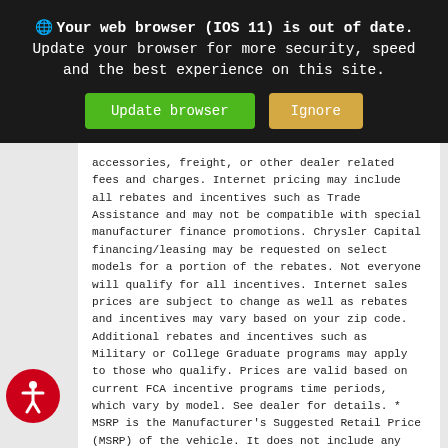Your web browser (IOS 11) is out of date. Update your browser for more security, speed and the best experience on this site.
accessories, freight, or other dealer related fees and charges. Internet pricing may include all rebates and incentives such as Trade Assistance and may not be compatible with special manufacturer finance promotions. Chrysler Capital financing/leasing may be requested on select models for a portion of the rebates. Not everyone will qualify for all incentives. Internet sales prices are subject to change as well as rebates and incentives may vary based on your zip code. Additional rebates and incentives such as Military or College Graduate programs may apply to those who qualify. Prices are valid based on current FCA incentive programs time periods, which vary by model. See dealer for details. * MSRP is the Manufacturer's Suggested Retail Price (MSRP) of the vehicle. It does not include any taxes, fees or other charges. Pricing and availability may vary based on a variety of factors, including options, dealer,